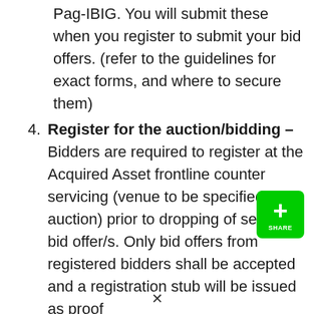Pag-IBIG. You will submit these when you register to submit your bid offers. (refer to the guidelines for exact forms, and where to secure them)
4. Register for the auction/bidding – Bidders are required to register at the Acquired Asset frontline counter servicing (venue to be specified per auction) prior to dropping of sealed bid offer/s. Only bid offers from registered bidders shall be accepted and a registration stub will be issued as proof